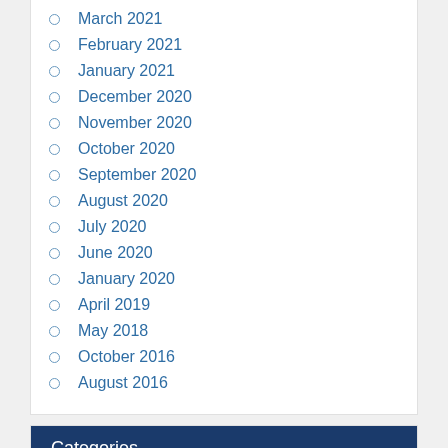March 2021
February 2021
January 2021
December 2020
November 2020
October 2020
September 2020
August 2020
July 2020
June 2020
January 2020
April 2019
May 2018
October 2016
August 2016
Categories
Divorce Case